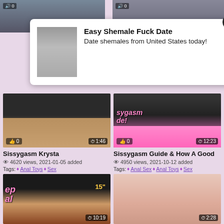[Figure (screenshot): Adult website screenshot showing video thumbnails and an advertisement overlay popup for 'Easy Shemale Fuck Date' dating site. Page has pink/lavender background with video grid showing sissy-themed adult content videos with titles, view counts, dates and tags.]
Easy Shemale Fuck Date
Date shemales from United States today!
Sissygasm Krysta
4620 views, 2021-01-05 added
Tags: Anal Toys Sex
Sissygasm Guide & How A Good
4950 views, 2021-10-12 added
Tags: Anal Sex Anal Toys Sex